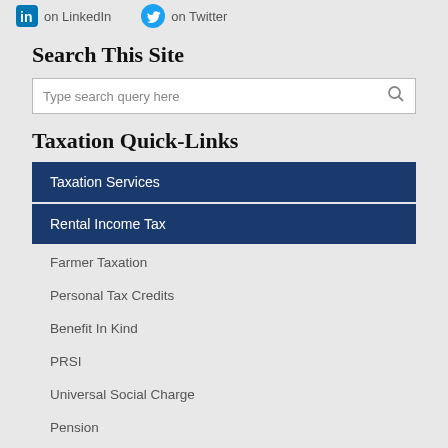on LinkedIn   on Twitter
Search This Site
Type search query here
Taxation Quick-Links
Taxation Services
Rental Income Tax
Farmer Taxation
Personal Tax Credits
Benefit In Kind
PRSI
Universal Social Charge
Pension
VAT